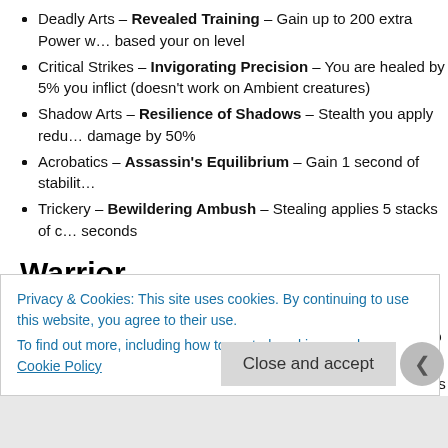Deadly Arts – Revealed Training – Gain up to 200 extra Power based your on level
Critical Strikes – Invigorating Precision – You are healed by 5% you inflict (doesn't work on Ambient creatures)
Shadow Arts – Resilience of Shadows – Stealth you apply reduces damage by 50%
Acrobatics – Assassin's Equilibrium – Gain 1 second of stability
Trickery – Bewildering Ambush – Stealing applies 5 stacks of c… seconds
Warrior
Strength – Burst Precision – Burst skills critically hit
Arms – Duel Wield Agility – Attack speed increased by 10% whe… sword, mace, or axe
Defense – Rousing Resilience – Gain up to 1000 toughness for a…
Privacy & Cookies: This site uses cookies. By continuing to use this website, you agree to their use. To find out more, including how to control cookies, see here: Cookie Policy